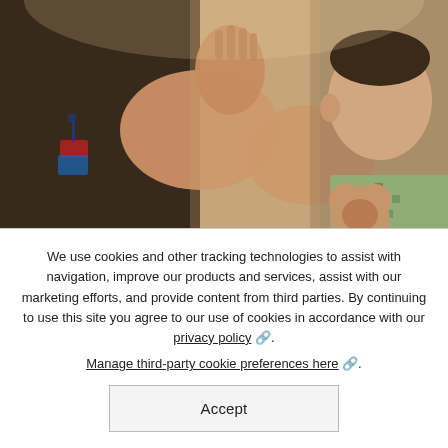[Figure (photo): A healthcare worker (wearing dark clothing and a badge/lanyard) high-fiving or interacting with hands with a young child patient who is holding a stuffed animal and wearing a patterned hospital gown. Warm, caring clinical setting.]
Join Us
Interested in being part of our Community Built on Care? Search opportunities for many types of jobs across the country.
We use cookies and other tracking technologies to assist with navigation, improve our products and services, assist with our marketing efforts, and provide content from third parties. By continuing to use this site you agree to our use of cookies in accordance with our privacy policy. Manage third-party cookie preferences here.